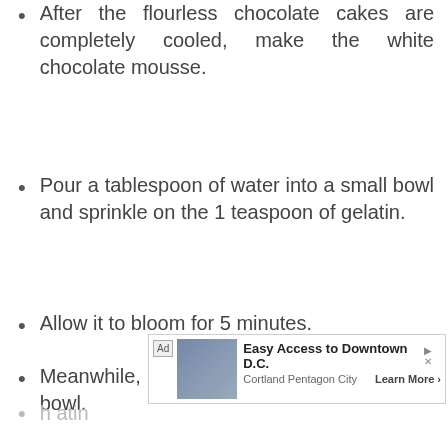After the flourless chocolate cakes are completely cooled, make the white chocolate mousse.
Pour a tablespoon of water into a small bowl and sprinkle on the 1 teaspoon of gelatin.
Allow it to bloom for 5 minutes.
Meanwhile, clean out your double boiler bowl.
Pour 3/4 cup heavy whipping cream into a bowl and set over a pot filled with 1 inch of water.
[Figure (other): Advertisement banner: Easy Access to Downtown D.C. - Cortland Pentagon City, Learn More button with hotel image]